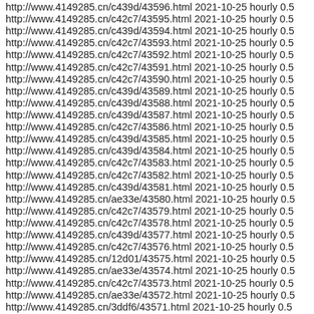http://www.4149285.cn/c439d/43596.html 2021-10-25 hourly 0.5
http://www.4149285.cn/c42c7/43595.html 2021-10-25 hourly 0.5
http://www.4149285.cn/c439d/43594.html 2021-10-25 hourly 0.5
http://www.4149285.cn/c42c7/43593.html 2021-10-25 hourly 0.5
http://www.4149285.cn/c42c7/43592.html 2021-10-25 hourly 0.5
http://www.4149285.cn/c42c7/43591.html 2021-10-25 hourly 0.5
http://www.4149285.cn/c42c7/43590.html 2021-10-25 hourly 0.5
http://www.4149285.cn/c439d/43589.html 2021-10-25 hourly 0.5
http://www.4149285.cn/c439d/43588.html 2021-10-25 hourly 0.5
http://www.4149285.cn/c439d/43587.html 2021-10-25 hourly 0.5
http://www.4149285.cn/c42c7/43586.html 2021-10-25 hourly 0.5
http://www.4149285.cn/c439d/43585.html 2021-10-25 hourly 0.5
http://www.4149285.cn/c439d/43584.html 2021-10-25 hourly 0.5
http://www.4149285.cn/c42c7/43583.html 2021-10-25 hourly 0.5
http://www.4149285.cn/c42c7/43582.html 2021-10-25 hourly 0.5
http://www.4149285.cn/c439d/43581.html 2021-10-25 hourly 0.5
http://www.4149285.cn/ae33e/43580.html 2021-10-25 hourly 0.5
http://www.4149285.cn/c42c7/43579.html 2021-10-25 hourly 0.5
http://www.4149285.cn/c42c7/43578.html 2021-10-25 hourly 0.5
http://www.4149285.cn/c439d/43577.html 2021-10-25 hourly 0.5
http://www.4149285.cn/c42c7/43576.html 2021-10-25 hourly 0.5
http://www.4149285.cn/12d01/43575.html 2021-10-25 hourly 0.5
http://www.4149285.cn/ae33e/43574.html 2021-10-25 hourly 0.5
http://www.4149285.cn/c42c7/43573.html 2021-10-25 hourly 0.5
http://www.4149285.cn/ae33e/43572.html 2021-10-25 hourly 0.5
http://www.4149285.cn/3ddf6/43571.html 2021-10-25 hourly 0.5